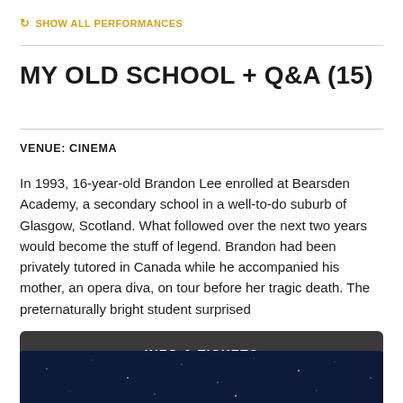SHOW ALL PERFORMANCES
MY OLD SCHOOL + Q&A (15)
VENUE: CINEMA
In 1993, 16-year-old Brandon Lee enrolled at Bearsden Academy, a secondary school in a well-to-do suburb of Glasgow, Scotland. What followed over the next two years would become the stuff of legend. Brandon had been privately tutored in Canada while he accompanied his mother, an opera diva, on tour before her tragic death. The preternaturally bright student surprised
INFO & TICKETS
[Figure (photo): Dark blue night sky with stars, bottom portion of the page]